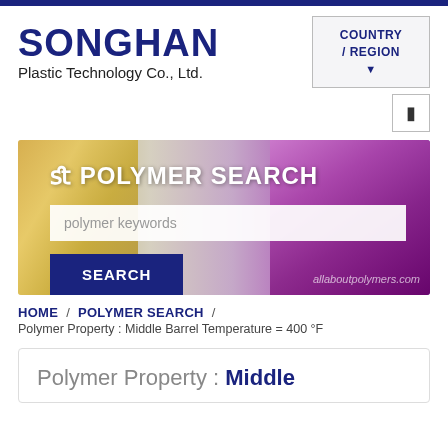SONGHAN Plastic Technology Co., Ltd.
[Figure (screenshot): Country/Region dropdown button]
[Figure (screenshot): Navigation icon button]
[Figure (photo): Polymer Search banner with plastic pellets (yellow and purple) background, search input field with placeholder 'polymer keywords', and a SEARCH button]
HOME / POLYMER SEARCH / Polymer Property : Middle Barrel Temperature = 400 °F
Polymer Property : Middle